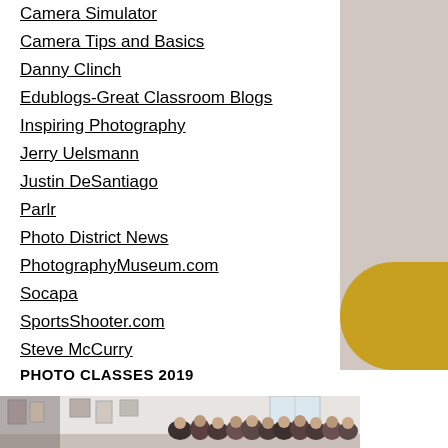Camera Simulator
Camera Tips and Basics
Danny Clinch
Edublogs-Great Classroom Blogs
Inspiring Photography
Jerry Uelsmann
Justin DeSantiago
Parlr
Photo District News
PhotographyMuseum.com
Socapa
SportsShooter.com
Steve McCurry
PHOTO CLASSES 2019
[Figure (photo): Group photo of students in a photography classroom with artwork on walls]